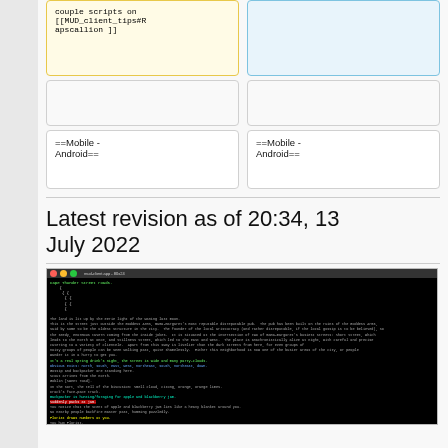couple scripts on [[MUD_client_tips#Rapscallion ]]
==Mobile - Android==
==Mobile - Android==
Latest revision as of 20:34, 13 July 2022
[Figure (screenshot): Terminal/MUD client screenshot showing a black terminal window with green and colored text, depicting a MUD game session with inventory actions and status bar at the bottom.]